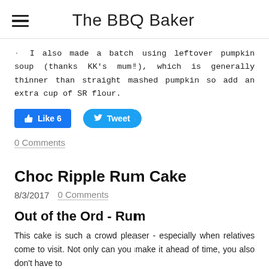The BBQ Baker
I also made a batch using leftover pumpkin soup (thanks KK's mum!), which is generally thinner than straight mashed pumpkin so add an extra cup of SR flour.
[Figure (other): Facebook Like button showing 'Like 6' and Twitter Tweet button]
0 Comments
Choc Ripple Rum Cake
8/3/2017   0 Comments
Out of the Ord - Rum
This cake is such a crowd pleaser - especially when relatives come to visit. Not only can you make it ahead of time, you also don't have to